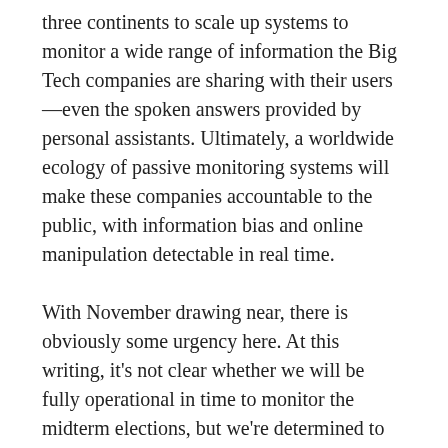three continents to scale up systems to monitor a wide range of information the Big Tech companies are sharing with their users—even the spoken answers provided by personal assistants. Ultimately, a worldwide ecology of passive monitoring systems will make these companies accountable to the public, with information bias and online manipulation detectable in real time.
With November drawing near, there is obviously some urgency here. At this writing, it's not clear whether we will be fully operational in time to monitor the midterm elections, but we're determined to be ready for 2020.